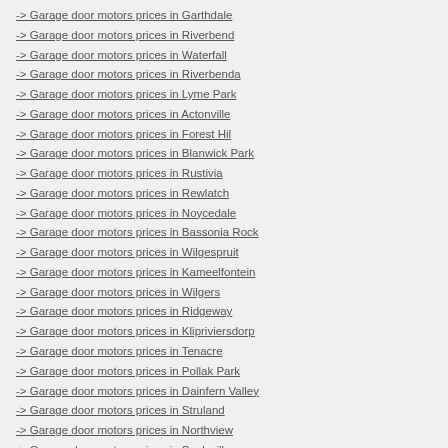-> Garage door motors prices in Garthdale
-> Garage door motors prices in Riverbend
-> Garage door motors prices in Waterfall
-> Garage door motors prices in Riverbenda
-> Garage door motors prices in Lyme Park
-> Garage door motors prices in Actonville
-> Garage door motors prices in Forest Hil
-> Garage door motors prices in Blanwick Park
-> Garage door motors prices in Rustivia
-> Garage door motors prices in Rewlatch
-> Garage door motors prices in Noycedale
-> Garage door motors prices in Bassonia Rock
-> Garage door motors prices in Wilgespruit
-> Garage door motors prices in Kameelfontein
-> Garage door motors prices in Wilgers
-> Garage door motors prices in Ridgeway
-> Garage door motors prices in Klipriviersdorp
-> Garage door motors prices in Tenacre
-> Garage door motors prices in Pollak Park
-> Garage door motors prices in Dainfern Valley
-> Garage door motors prices in Struland
-> Garage door motors prices in Northview
-> Garage door motors prices in Saulsville
-> Garage door motors prices in Alberante